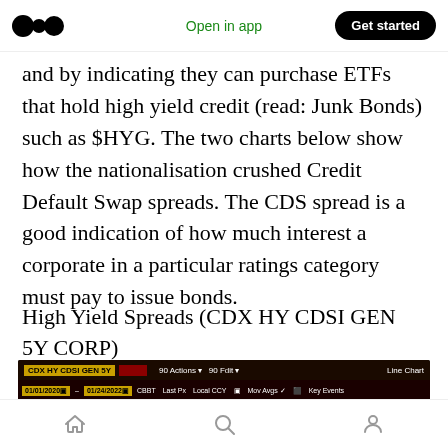Medium logo | Open in app | Get started
and by indicating they can purchase ETFs that hold high yield credit (read: Junk Bonds) such as $HYG. The two charts below show how the nationalisation crushed Credit Default Swap spreads. The CDS spread is a good indication of how much interest a corporate in a particular ratings category must pay to issue bonds.
High Yield Spreads (CDX HY CDSI GEN 5Y CORP)
[Figure (screenshot): Bloomberg terminal screenshot showing CDX HY CDSI GEN 5Y chart interface with toolbar showing date range 01/01/2020 to 01/24/2022, CBBT, Last Px, Local CCY, Mov Avgs, Key Events options, and time period selectors (1D, 2D, 1M, 6M, YTD, 1Y, 5Y, Max, Daily).]
Home | Search | Profile